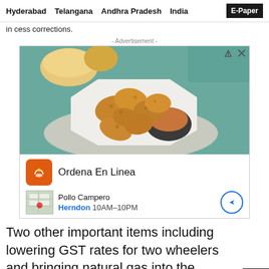Hyderabad  Telangana  Andhra Pradesh  India  E-Paper
In cess corrections.
- Advertisement -
[Figure (photo): Advertisement photo showing fried chicken pieces with dipping sauce on a plate, with bread rolls in the background. Ad for Pollo Campero - Ordena En Linea, Herndon 10AM-10PM.]
Two other important items including lowering GST rates for two wheelers and bringing natural gas into the indirect tax fold may also be included